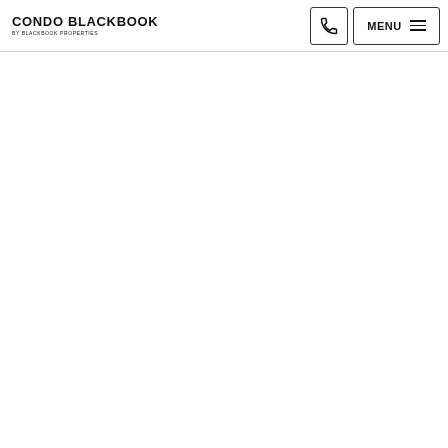CONDO BLACKBOOK BY BLACKBOOK PROPERTIES